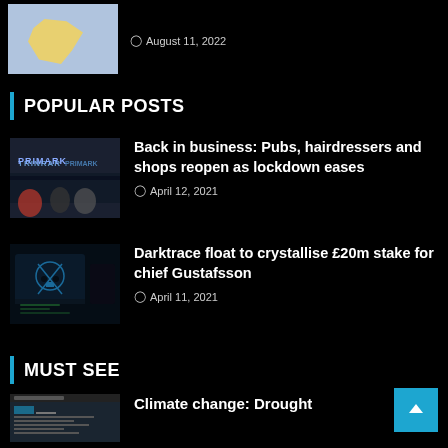[Figure (photo): Weather map thumbnail showing UK/Ireland]
August 11, 2022
POPULAR POSTS
[Figure (photo): Primark store exterior with people queuing]
Back in business: Pubs, hairdressers and shops reopen as lockdown eases
April 12, 2021
[Figure (photo): Darktrace cyber security themed laptop with skull and crossbones]
Darktrace float to crystallise £20m stake for chief Gustafsson
April 11, 2021
MUST SEE
[Figure (photo): Climate change chart thumbnail]
Climate change: Drought